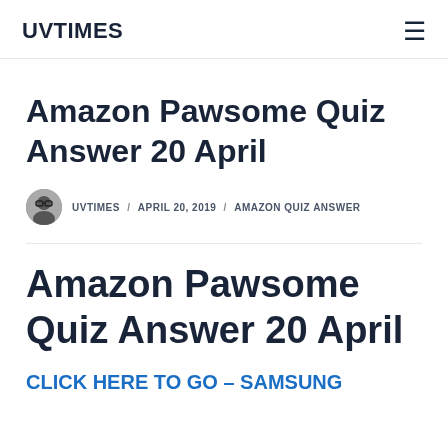UVTIMES
Amazon Pawsome Quiz Answer 20 April
UVTIMES / APRIL 20, 2019 / AMAZON QUIZ ANSWER
Amazon Pawsome Quiz Answer 20 April
CLICK HERE TO GO – SAMSUNG